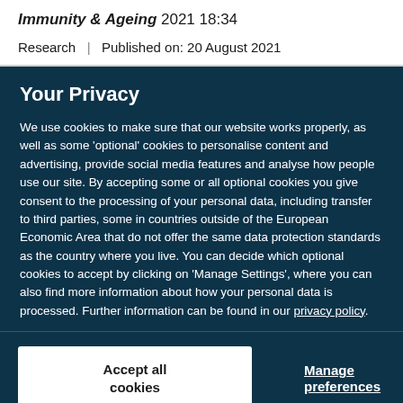Immunity & Ageing 2021 18:34
Research | Published on: 20 August 2021
Your Privacy
We use cookies to make sure that our website works properly, as well as some 'optional' cookies to personalise content and advertising, provide social media features and analyse how people use our site. By accepting some or all optional cookies you give consent to the processing of your personal data, including transfer to third parties, some in countries outside of the European Economic Area that do not offer the same data protection standards as the country where you live. You can decide which optional cookies to accept by clicking on 'Manage Settings', where you can also find more information about how your personal data is processed. Further information can be found in our privacy policy.
Accept all cookies
Manage preferences